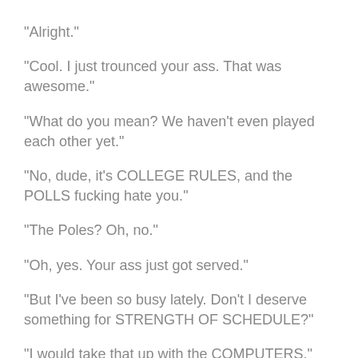"Alright."
"Cool. I just trounced your ass. That was awesome."
"What do you mean? We haven't even played each other yet."
"No, dude, it's COLLEGE RULES, and the POLLS fucking hate you."
"The Poles? Oh, no."
"Oh, yes. Your ass just got served."
"But I've been so busy lately. Don't I deserve something for STRENGTH OF SCHEDULE?"
"I would take that up with the COMPUTERS."
"Ah."